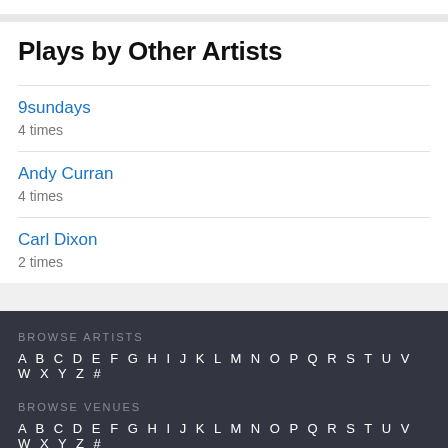Plays by Other Artists
9sundays
4 times
Andy Curran
4 times
Carl Dixon
2 times
BROWSE ARTISTS
A B C D E F G H I J K L M N O P Q R S T U V W X Y Z #
BROWSE VENUES
A B C D E F G H I J K L M N O P Q R S T U V W X Y Z #
RECEN
Today
[Figure (screenshot): Coinbase advertisement banner: 'Rock out at concerts. Trade bitcoin on Coinbase.' with arrow, coinbase logo, blue background with bitcoin symbol]